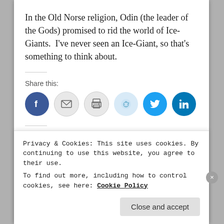In the Old Norse religion, Odin (the leader of the Gods) promised to rid the world of Ice-Giants.  I've never seen an Ice-Giant, so that's something to think about.
Share this:
[Figure (other): Row of social share icon buttons: Facebook (blue circle), Email (grey circle), Print (grey circle), Reddit (light blue circle), Twitter (cyan circle), LinkedIn (dark blue circle)]
[Figure (other): Like button and a strip of user avatar thumbnails]
Privacy & Cookies: This site uses cookies. By continuing to use this website, you agree to their use.
To find out more, including how to control cookies, see here: Cookie Policy